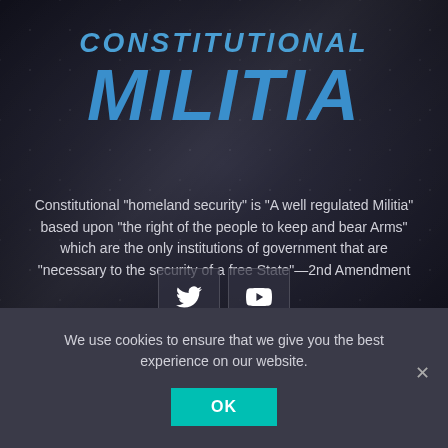CONSTITUTIONAL MILITIA
Constitutional "homeland security" is "A well regulated Militia" based upon "the right of the people to keep and bear Arms" which are the only institutions of government that are "necessary to the security of a free State"—2nd Amendment
[Figure (other): Twitter bird icon in dark box]
[Figure (other): YouTube play button icon in dark box]
We use cookies to ensure that we give you the best experience on our website.